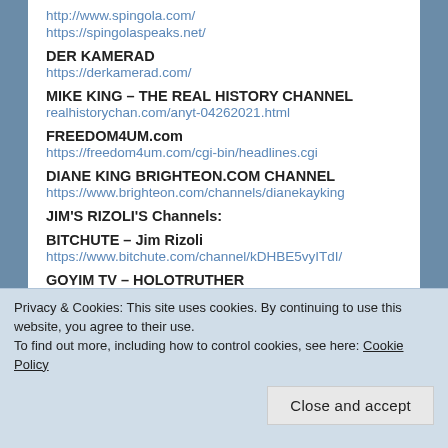http://www.spingola.com/
https://spingolaspeaks.net/
DER KAMERAD
https://derkamerad.com/
MIKE KING – THE REAL HISTORY CHANNEL
realhistorychan.com/anyt-04262021.html
FREEDOM4UM.com
https://freedom4um.com/cgi-bin/headlines.cgi
DIANE KING BRIGHTEON.COM CHANNEL
https://www.brighteon.com/channels/dianekayking
JIM'S RIZOLI'S Channels:
BITCHUTE – Jim Rizoli
https://www.bitchute.com/channel/kDHBE5vyITdI/
GOYIM TV – HOLOTRUTHER
https://www.goyimtv.tv/channel/2244538652/Holotruther/video
Privacy & Cookies: This site uses cookies. By continuing to use this website, you agree to their use.
To find out more, including how to control cookies, see here: Cookie Policy
Close and accept
https://archive.org/details/@mrtanman_gmail_com